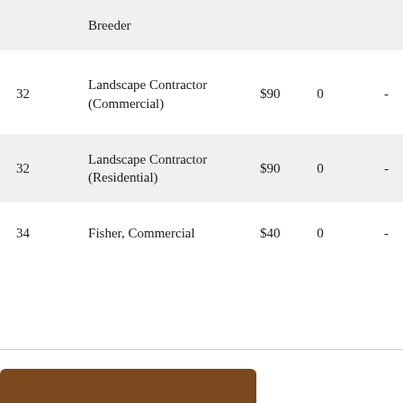| # | License Type | Fee |  |  |
| --- | --- | --- | --- | --- |
|  | Breeder |  |  |  |
| 32 | Landscape Contractor (Commercial) | $90 | 0 | - |
| 32 | Landscape Contractor (Residential) | $90 | 0 | - |
| 34 | Fisher, Commercial | $40 | 0 | - |